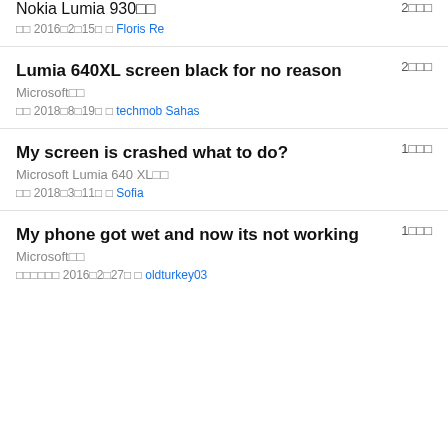Nokia Lumia 930□□
2□□□
□□ 2016□2□15□ □ Floris Re
Lumia 640XL screen black for no reason
Microsoft□□  2□□□
□□ 2018□8□19□ □ techmob Sahas
My screen is crashed what to do?
Microsoft Lumia 640 XL□□  1□□□
□□ 2018□3□11□ □ Sofia
My phone got wet and now its not working
Microsoft□□  1□□□
□□□□□□ 2016□2□27□ □ oldturkey03